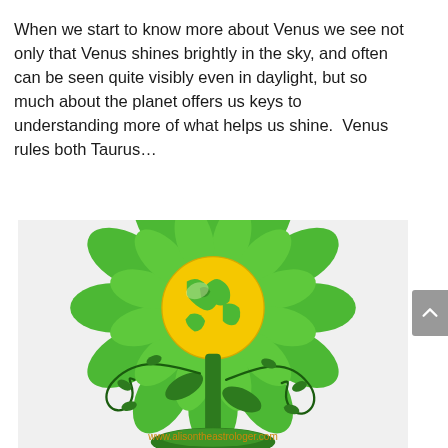When we start to know more about Venus we see not only that Venus shines brightly in the sky, and often can be seen quite visibly even in daylight, but so much about the planet offers us keys to understanding more of what helps us shine.  Venus rules both Taurus...
[Figure (illustration): A stylized green flower with multiple petals surrounding a yellow globe/Earth in the center showing green continents. The flower has dark green stems, leaves, and curling vines extending outward from the base, which rests on a green ground mound. Website watermark 'www.alisontheastrologer.com' in orange at the bottom.]